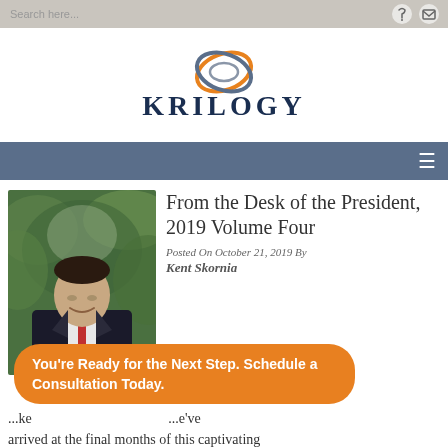Search here...
[Figure (logo): Krilogy logo with interlocking ring symbol in orange and blue-gray above the text KRILOGY in navy blue serif capital letters]
Navigation bar with hamburger menu icon
[Figure (photo): Professional headshot of a man in a dark suit with a red tie, smiling, with green leafy background]
From the Desk of the President, 2019 Volume Four
Posted On October 21, 2019 By
Kent Skornia
You're Ready for the Next Step. Schedule a Consultation Today.
...ke ...e've arrived at the final months of this captivating decade. As I envision the myriad of things that